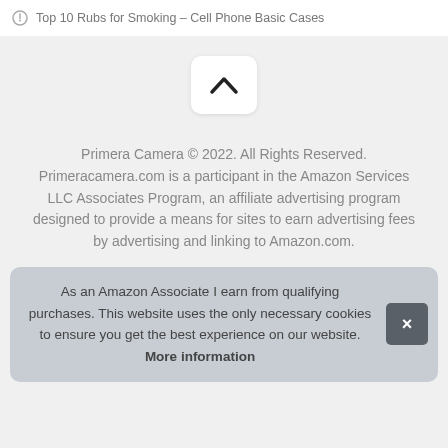Top 10 Rubs for Smoking – Cell Phone Basic Cases
[Figure (other): A white rounded button with an upward chevron/caret arrow icon, used as a scroll-to-top button]
Primera Camera © 2022. All Rights Reserved. Primeracamera.com is a participant in the Amazon Services LLC Associates Program, an affiliate advertising program designed to provide a means for sites to earn advertising fees by advertising and linking to Amazon.com.
As an Amazon Associate I earn from qualifying purchases. This website uses the only necessary cookies to ensure you get the best experience on our website. More information